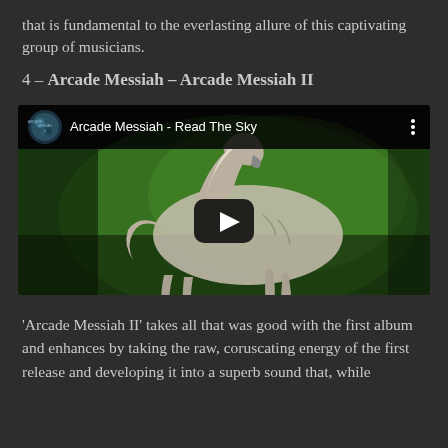that is fundamental to the everlasting allure of this captivating group of musicians.
4 – Arcade Messiah – Arcade Messiah II
[Figure (screenshot): YouTube video thumbnail for 'Arcade Messiah - Read The Sky' showing an anatomical horse illustration on a green background with a play button overlay and video title bar at top.]
'Arcade Messiah II' takes all that was good with the first album and enhances by taking the raw, coruscating energy of the first release and developing it into a superb sound that, while